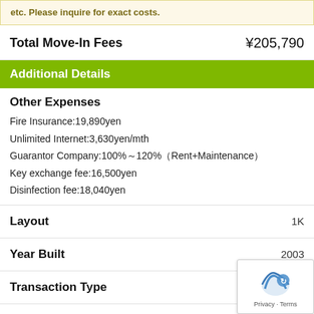etc. Please inquire for exact costs.
Total Move-In Fees ¥205,790
Additional Details
Other Expenses
Fire Insurance:19,890yen
Unlimited Internet:3,630yen/mth
Guarantor Company:100%～120%（Rent+Maintenance）
Key exchange fee:16,500yen
Disinfection fee:18,040yen
Layout 1K
Year Built 2003
Transaction Type Non-Ex
Building Style Normal